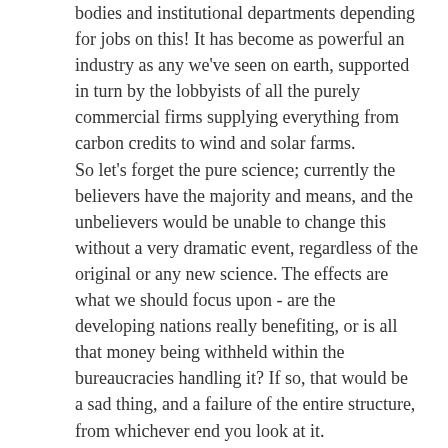bodies and institutional departments depending for jobs on this! It has become as powerful an industry as any we've seen on earth, supported in turn by the lobbyists of all the purely commercial firms supplying everything from carbon credits to wind and solar farms.
So let's forget the pure science; currently the believers have the majority and means, and the unbelievers would be unable to change this without a very dramatic event, regardless of the original or any new science. The effects are what we should focus upon - are the developing nations really benefiting, or is all that money being withheld within the bureaucracies handling it? If so, that would be a sad thing, and a failure of the entire structure, from whichever end you look at it.
Reply ↲
Cold Shivers - 10/07/2016 at 23:20
This video failed to analyze the very first place where global warming would show itself. It is true most of the